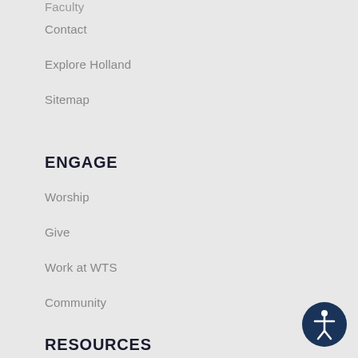Faculty
Contact
Explore Holland
Sitemap
ENGAGE
Worship
Give
Work at WTS
Community
RESOURCES
[Figure (illustration): Accessibility icon: dark navy circle with white figure of a person with arms outstretched]